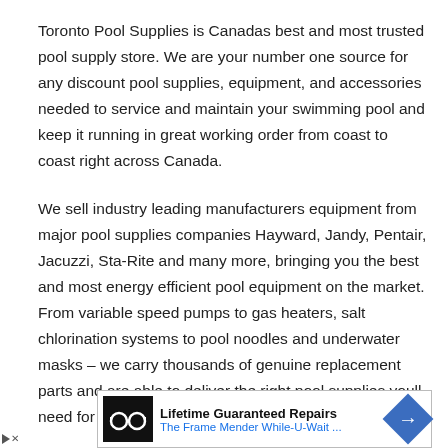Toronto Pool Supplies is Canadas best and most trusted pool supply store. We are your number one source for any discount pool supplies, equipment, and accessories needed to service and maintain your swimming pool and keep it running in great working order from coast to coast right across Canada.
We sell industry leading manufacturers equipment from major pool supplies companies Hayward, Jandy, Pentair, Jacuzzi, Sta-Rite and many more, bringing you the best and most energy efficient pool equipment on the market. From variable speed pumps to gas heaters, salt chlorination systems to pool noodles and underwater masks – we carry thousands of genuine replacement parts and are able to deliver the right pool supplies youll need for both in ground
[Figure (other): Advertisement banner: Lifetime Guaranteed Repairs – The Frame Mender While-U-Wait... with glasses icon on black background and blue diamond arrow button]